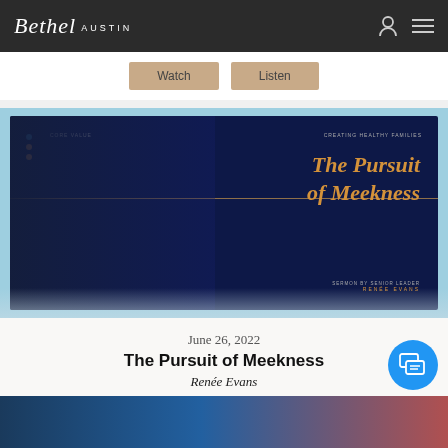Bethel Austin
[Figure (screenshot): Sermon thumbnail image: woman with blonde hair at a podium against dark blue background, with golden italic text 'The Pursuit of Meekness' and subtitle 'SERMON BY SENIOR LEADER RENÉE EVANS']
June 26, 2022
The Pursuit of Meekness
Renée Evans
Watch   Listen